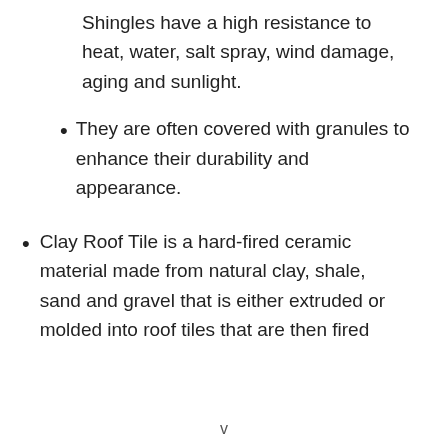Shingles have a high resistance to heat, water, salt spray, wind damage, aging and sunlight.
They are often covered with granules to enhance their durability and appearance.
Clay Roof Tile is a hard-fired ceramic material made from natural clay, shale, sand and gravel that is either extruded or molded into roof tiles that are then fired
v